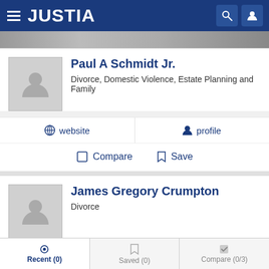JUSTIA
[Figure (photo): Blurred banner image behind header]
Paul A Schmidt Jr.
Divorce, Domestic Violence, Estate Planning and Family
website   profile
Compare   Save
James Gregory Crumpton
Divorce
website   profile   email
Recent (0)   Saved (0)   Compare (0/3)